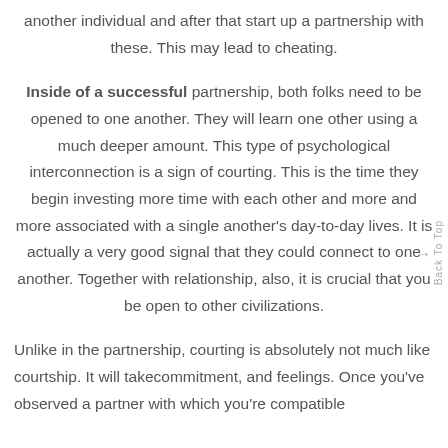another individual and after that start up a partnership with these. This may lead to cheating.
Inside of a successful partnership, both folks need to be opened to one another. They will learn one other using a much deeper amount. This type of psychological interconnection is a sign of courting. This is the time they begin investing more time with each other and more and more associated with a single another's day-to-day lives. It is actually a very good signal that they could connect to one another. Together with relationship, also, it is crucial that you be open to other civilizations.
Unlike in the partnership, courting is absolutely not much like courtship. It will takecommitment, and feelings. Once you've observed a partner with which you're compatible